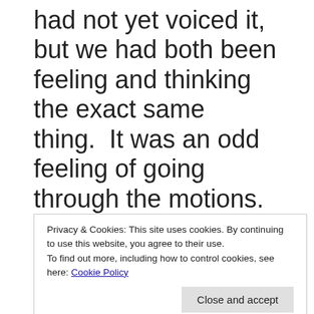had not yet voiced it, but we had both been feeling and thinking the exact same thing.  It was an odd feeling of going through the motions. Before we were completely engaged. The good and the bad moments were deeply felt. Now that feeling of glorious
Privacy & Cookies: This site uses cookies. By continuing to use this website, you agree to their use.
To find out more, including how to control cookies, see here: Cookie Policy
through the air, we were coming to